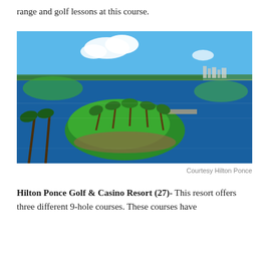range and golf lessons at this course.
[Figure (photo): Aerial view of a tropical golf course island surrounded by a blue lake, with palm trees on a green putting area, and ocean visible in the background under a blue sky with clouds.]
Courtesy Hilton Ponce
Hilton Ponce Golf & Casino Resort (27)- This resort offers three different 9-hole courses. These courses have